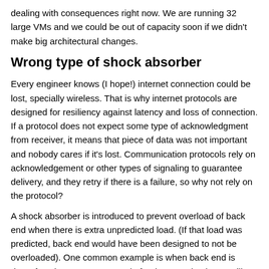dealing with consequences right now. We are running 32 large VMs and we could be out of capacity soon if we didn't make big architectural changes.
Wrong type of shock absorber
Every engineer knows (I hope!) internet connection could be lost, specially wireless. That is why internet protocols are designed for resiliency against latency and loss of connection. If a protocol does not expect some type of acknowledgment from receiver, it means that piece of data was not important and nobody cares if it's lost. Communication protocols rely on acknowledgement or other types of signaling to guarantee delivery, and they retry if there is a failure, so why not rely on the protocol?
A shock absorber is introduced to prevent overload of back end when there is extra unpredicted load. (If that load was predicted, back end would have been designed to not be overloaded). One common example is when back end is down for whatever reason and after it comes back up , will need to respond to more devices because they are retrying to send data from the time it was down.